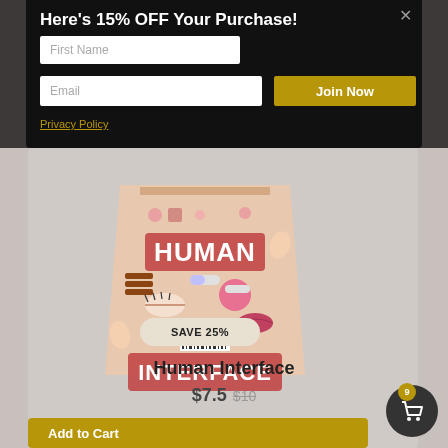Here's 15% OFF Your Purchase!
First Name
Email
Join Now
Privacy Policy
[Figure (photo): Human Interface board game box cover with colorful human body/face icons on a beige background]
SAVE 25%
Human Interface
$7.5 $10
Add to Cart